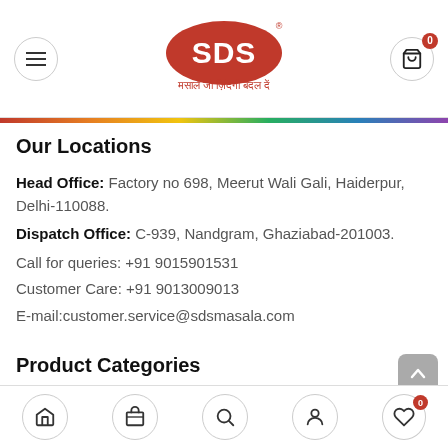SDS — मसाले जो ज़िंदगी बदल दें — Navigation header with menu and cart
Our Locations
Head Office: Factory no 698, Meerut Wali Gali, Haiderpur, Delhi-110088.
Dispatch Office: C-939, Nandgram, Ghaziabad-201003.
Call for queries: +91 9015901531
Customer Care: +91 9013009013
E-mail:customer.service@sdsmasala.com
Product Categories
Combo Pack
Bottom navigation: Home, Shop, Search, Account, Wishlist (0)